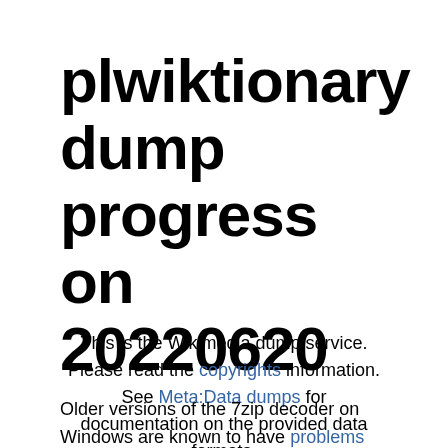plwiktionary dump progress on 20220620
This is the Wikimedia dump service. Please read the copyrights information. See Meta:Data dumps for documentation on the provided data formats.
Older versions of the 7zip decoder on Windows are known to have problems with some bz2-format files for larger wikis; we recommend the use of bzip2 for